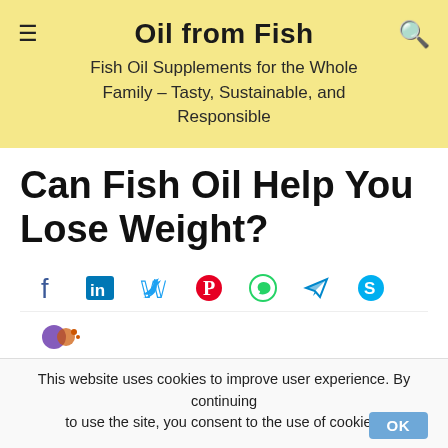Oil from Fish – Fish Oil Supplements for the Whole Family – Tasty, Sustainable, and Responsible
Can Fish Oil Help You Lose Weight?
[Figure (infographic): Social sharing icons row: Facebook, LinkedIn, Twitter, Pinterest, WhatsApp, Telegram, Skype]
This website uses cookies to improve user experience. By continuing to use the site, you consent to the use of cookies.